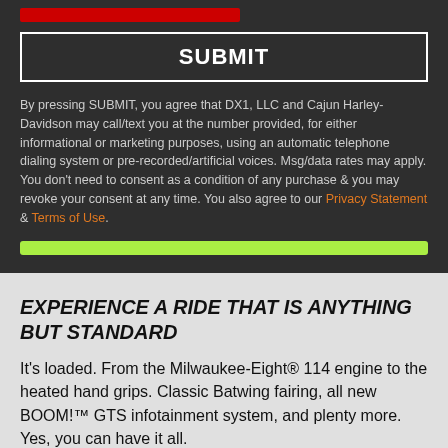[Figure (other): Red bar UI element at top of form section]
SUBMIT
By pressing SUBMIT, you agree that DX1, LLC and Cajun Harley-Davidson may call/text you at the number provided, for either informational or marketing purposes, using an automatic telephone dialing system or pre-recorded/artificial voices. Msg/data rates may apply. You don't need to consent as a condition of any purchase & you may revoke your consent at any time. You also agree to our Privacy Statement & Terms of Use.
[Figure (other): Green progress/status bar]
EXPERIENCE A RIDE THAT IS ANYTHING BUT STANDARD
It's loaded. From the Milwaukee-Eight® 114 engine to the heated hand grips. Classic Batwing fairing, all new BOOM!™ GTS infotainment system, and plenty more. Yes, you can have it all.
New Blacked-Out Finish Option - Achieve a bold, distinctive look with the new Black Finish package now available on some of our top options.